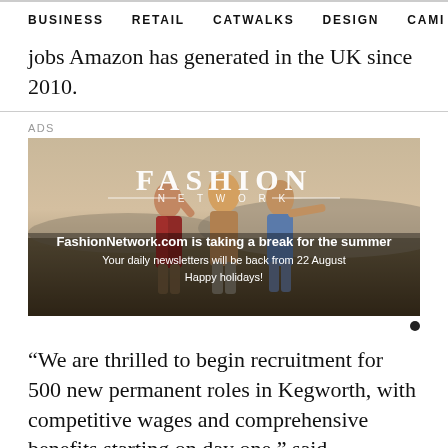BUSINESS   RETAIL   CATWALKS   DESIGN   CAMI >
jobs Amazon has generated in the UK since 2010.
ADS
[Figure (photo): FashionNetwork ad banner showing three young women standing in a field at sunset with arms around each other. Overlay text reads: FASHION NETWORK. FashionNetwork.com is taking a break for the summer. Your daily newsletters will be back from 22 August. Happy holidays!]
“We are thrilled to begin recruitment for 500 new permanent roles in Kegworth, with competitive wages and comprehensive benefits starting on day one,” said